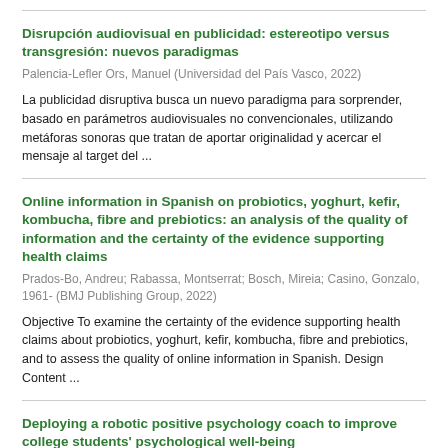Disrupción audiovisual en publicidad: estereotipo versus transgresión: nuevos paradigmas
Palencia-Lefler Ors, Manuel (Universidad del País Vasco, 2022)
La publicidad disruptiva busca un nuevo paradigma para sorprender, basado en parámetros audiovisuales no convencionales, utilizando metáforas sonoras que tratan de aportar originalidad y acercar el mensaje al target del ...
Online information in Spanish on probiotics, yoghurt, kefir, kombucha, fibre and prebiotics: an analysis of the quality of information and the certainty of the evidence supporting health claims
Prados-Bo, Andreu; Rabassa, Montserrat; Bosch, Mireia; Casino, Gonzalo, 1961- (BMJ Publishing Group, 2022)
Objective To examine the certainty of the evidence supporting health claims about probiotics, yoghurt, kefir, kombucha, fibre and prebiotics, and to assess the quality of online information in Spanish. Design Content ...
Deploying a robotic positive psychology coach to improve college students' psychological well-being